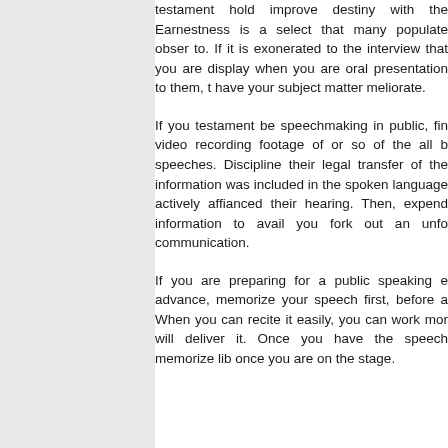testament hold improve destiny with the Earnestness is a select that many populate observe to. If it is exonerated to the interview that you are display when you are oral presentation to them, t have your subject matter meliorate.
If you testament be speechmaking in public, fin video recording footage of or so of the all b speeches. Discipline their legal transfer of the information was included in the spoken language actively affianced their hearing. Then, expend information to avail you fork out an unfo communication.
If you are preparing for a public speaking e advance, memorize your speech first, before a When you can recite it easily, you can work mor will deliver it. Once you have the speech memorize lib once you are on the stage.